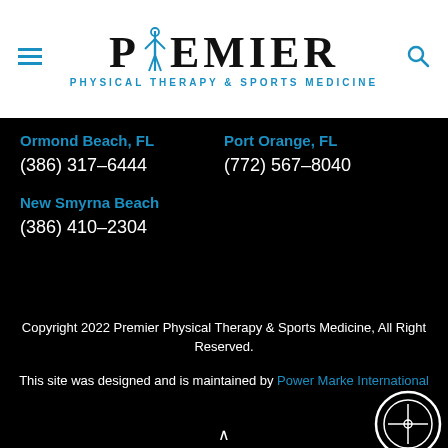[Figure (logo): Premier Physical Therapy & Sports Medicine logo with caduceus symbol]
Ormond Beach, FL
(386) 317-6444
Port Orange, FL
(772) 567-8040
New Smyrna Beach
(386) 410-2304
Copyright 2022 Premier Physical Therapy & Sports Medicine, All Right Reserved.

This site was designed and is maintained by Power Marketing International